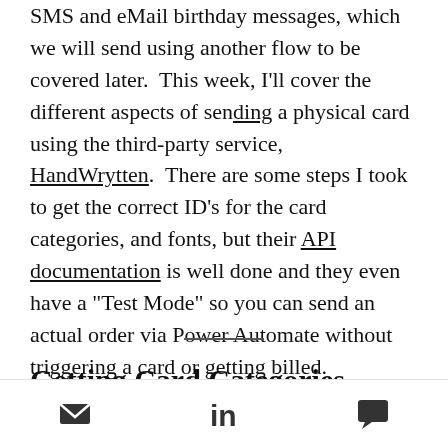SMS and eMail birthday messages, which we will send using another flow to be covered later. This week, I'll cover the different aspects of sending a physical card using the third-party service, HandWrytten. There are some steps I took to get the correct ID's for the card categories, and fonts, but their API documentation is well done and they even have a "Test Mode" so you can send an actual order via Power Automate without triggering a card or getting billed.
Getting Card Categories